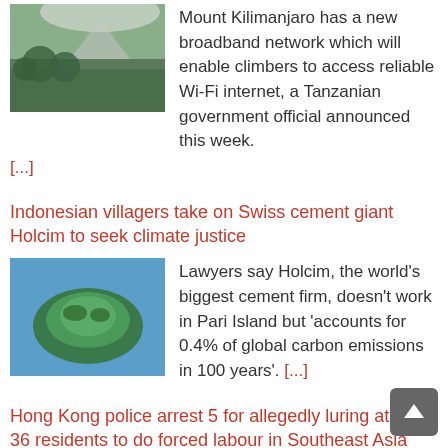[Figure (photo): Aerial/landscape photo of Mount Kilimanjaro area with trees and mountain in background]
Mount Kilimanjaro has a new broadband network which will enable climbers to access reliable Wi-Fi internet, a Tanzanian government official announced this week.
[...]
Indonesian villagers take on Swiss cement giant Holcim to seek climate justice
[Figure (photo): Aerial photo of a small green island surrounded by blue water - Pari Island]
Lawyers say Holcim, the world’s biggest cement firm, doesn’t work in Pari Island but ‘accounts for 0.4% of global carbon emissions in 100 years’. [...]
Hong Kong police arrest 5 for allegedly luring at least 36 residents to do forced labour in Southeast Asia
[Figure (photo): Photo of a Hong Kong police or government building with security logo visible]
Police say number of residents who had been held captive in Southeast Asia has risen to 36, with 22 still in need of rescue. [...]